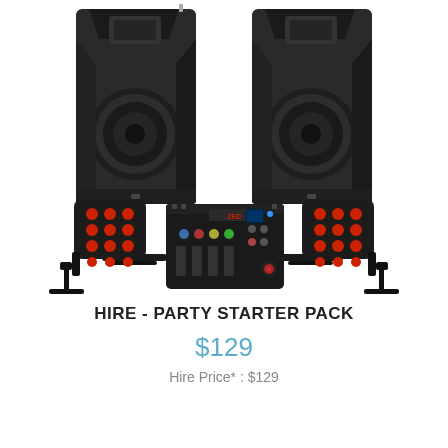[Figure (photo): Party starter pack equipment: two large black PA speakers on stands, two LED par lights with red LEDs on tripod stands, and an Allen & Heath ZEDi FX audio mixer in the center foreground.]
HIRE - PARTY STARTER PACK
$129
Hire Price* : $129